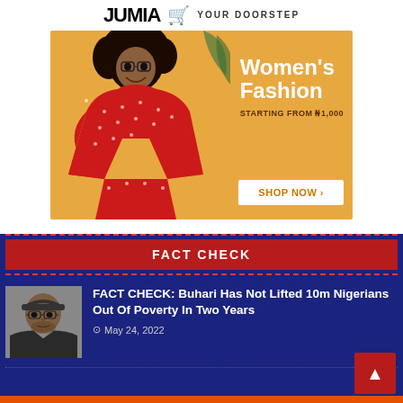[Figure (logo): Jumia logo with shopping cart icon and text YOUR DOORSTEP]
[Figure (photo): Jumia Women's Fashion advertisement banner showing woman in red polka dot dress on orange background with text 'Women's Fashion STARTING FROM ₦1,000' and SHOP NOW button]
FACT CHECK
[Figure (photo): Thumbnail photo of a man wearing a cap and glasses]
FACT CHECK: Buhari Has Not Lifted 10m Nigerians Out Of Poverty In Two Years
May 24, 2022